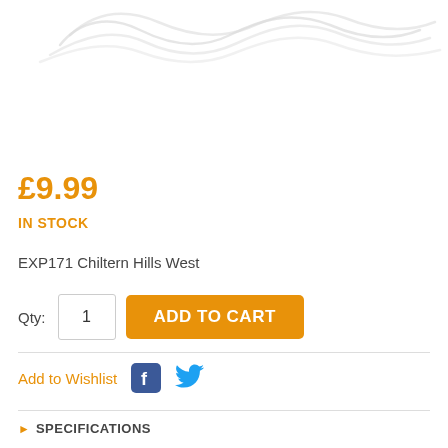[Figure (illustration): Partial decorative map lines / contour lines in light grey at the top of the page]
£9.99
IN STOCK
EXP171 Chiltern Hills West
Qty: 1  ADD TO CART
Add to Wishlist
SPECIFICATIONS